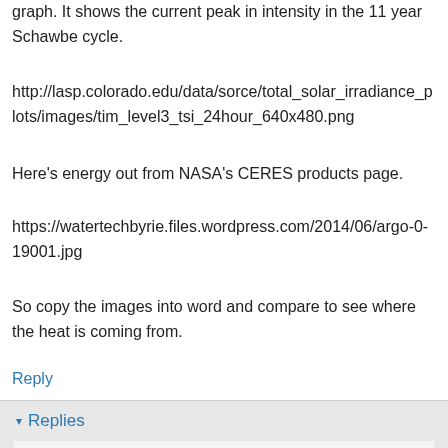graph. It shows the current peak in intensity in the 11 year Schawbe cycle.
http://lasp.colorado.edu/data/sorce/total_solar_irradiance_plots/images/tim_level3_tsi_24hour_640x480.png
Here's energy out from NASA's CERES products page.
https://watertechbyrie.files.wordpress.com/2014/06/argo-0-19001.jpg
So copy the images into word and compare to see where the heat is coming from.
Reply
Replies
Bernard J. February 19, 2015 at 5:59 PM
(As I said in the thread that originally hosted this blather before it was appropriately sin-binned...)
"So copy the images into word and compare to